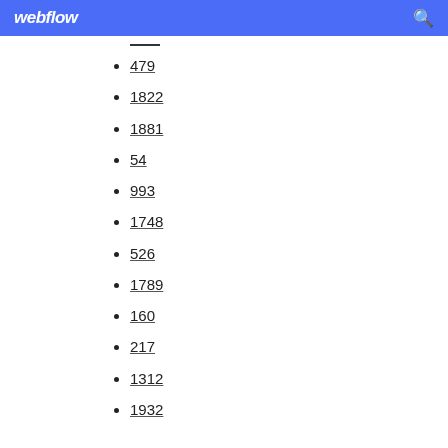webflow
479
1822
1881
54
993
1748
526
1789
160
217
1312
1932